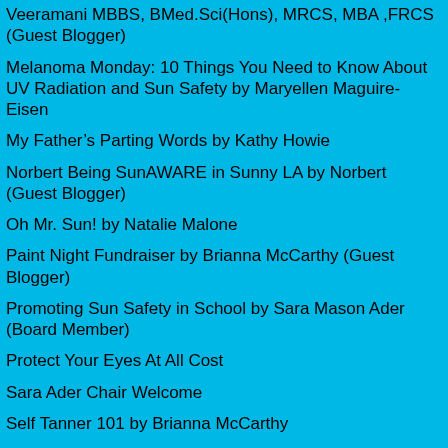Veeramani MBBS, BMed.Sci(Hons), MRCS, MBA ,FRCS (Guest Blogger)
Melanoma Monday: 10 Things You Need to Know About UV Radiation and Sun Safety by Maryellen Maguire-Eisen
My Father's Parting Words by Kathy Howie
Norbert Being SunAWARE in Sunny LA by Norbert (Guest Blogger)
Oh Mr. Sun! by Natalie Malone
Paint Night Fundraiser by Brianna McCarthy (Guest Blogger)
Promoting Sun Safety in School by Sara Mason Ader (Board Member)
Protect Your Eyes At All Cost
Sara Ader Chair Welcome
Self Tanner 101 by Brianna McCarthy
Senate Bill 1229, “An act further regulating tanning facilities”.
Should the D in Vitamin D stand for diversity? By Brianna McCarthy (Guest Blogger)
Skin Cancer Epidemic